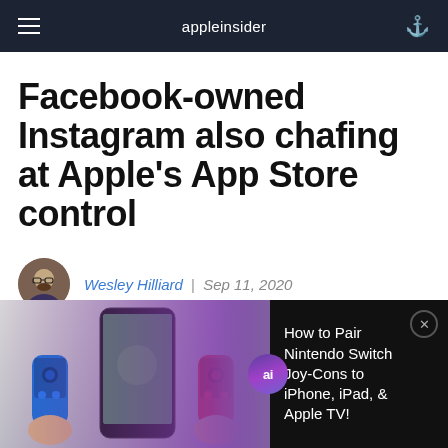appleinsider
Facebook-owned Instagram also chafing at Apple's App Store control
Wesley Hilliard | Sep 11, 2020
[Figure (infographic): Ad banner showing Nintendo Switch Joy-Cons with a phone, AppleInsider logo, and text 'How to Pair Nintendo Switch Joy-Cons to iPhone, iPad, & Apple TV!']